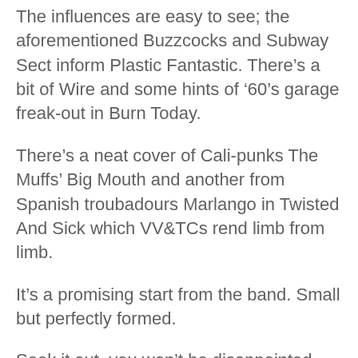The influences are easy to see; the aforementioned Buzzcocks and Subway Sect inform Plastic Fantastic. There’s a bit of Wire and some hints of ‘60’s garage freak-out in Burn Today.
There’s a neat cover of Cali-punks The Muffs’ Big Mouth and another from Spanish troubadours Marlango in Twisted And Sick which VV&TCs rend limb from limb.
It’s a promising start from the band. Small but perfectly formed.
Seek it out, you won’t be disappointed.
All words by Joe Whyte. You can read more from him on LTW here.